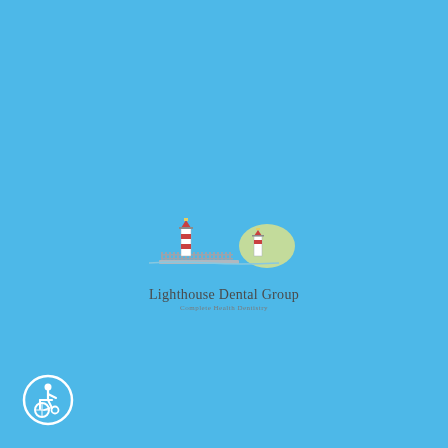[Figure (logo): Lighthouse Dental Group logo featuring two lighthouses with a yellow sun, above the text 'Lighthouse Dental Group' and subtitle 'Complete Health Dentistry']
[Figure (illustration): Wheelchair accessibility symbol — a circular icon with a white wheelchair user figure on a blue background with white border]